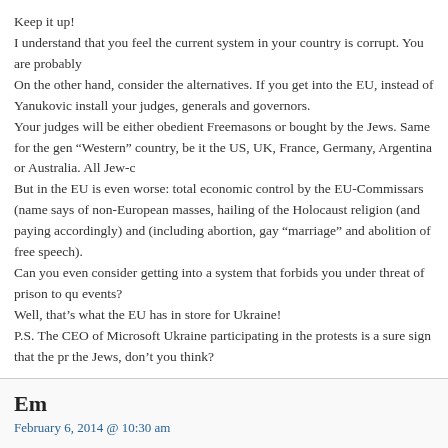Keep it up!
I understand that you feel the current system in your country is corrupt. You are probably
On the other hand, consider the alternatives. If you get into the EU, instead of Yanukovic install your judges, generals and governors.
Your judges will be either obedient Freemasons or bought by the Jews. Same for the gen “Western” country, be it the US, UK, France, Germany, Argentina or Australia. All Jew-c
But in the EU is even worse: total economic control by the EU-Commissars (name says of non-European masses, hailing of the Holocaust religion (and paying accordingly) and (including abortion, gay “marriage” and abolition of free speech).
Can you even consider getting into a system that forbids you under threat of prison to qu events?
Well, that’s what the EU has in store for Ukraine!
P.S. The CEO of Microsoft Ukraine participating in the protests is a sure sign that the pr the Jews, don’t you think?
Em
February 6, 2014 @ 10:30 am
@Joe